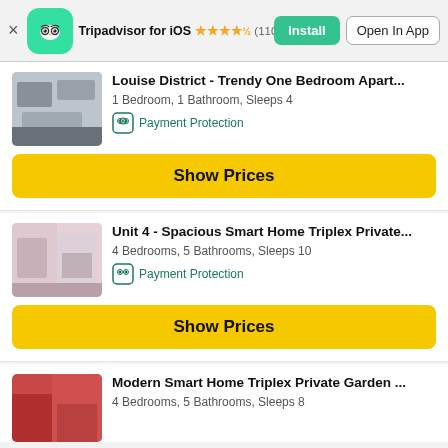Tripadvisor for iOS ★★★★½ (110,043) | Install | Open In App
Louise District - Trendy One Bedroom Apart...
1 Bedroom, 1 Bathroom, Sleeps 4
Payment Protection
Show Prices
Unit 4 - Spacious Smart Home Triplex Private...
4 Bedrooms, 5 Bathrooms, Sleeps 10
Payment Protection
Show Prices
Modern Smart Home Triplex Private Garden ...
4 Bedrooms, 5 Bathrooms, Sleeps 8